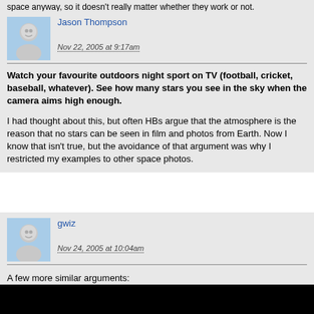space anyway, so it doesn't really matter whether they work or not.
Jason Thompson
Nov 22, 2005 at 9:17am
Watch your favourite outdoors night sport on TV (football, cricket, baseball, whatever). See how many stars you see in the sky when the camera aims high enough.
I had thought about this, but often HBs argue that the atmosphere is the reason that no stars can be seen in film and photos from Earth. Now I know that isn't true, but the avoidance of that argument was why I restricted my examples to other space photos.
gwiz
Nov 24, 2005 at 10:04am
A few more similar arguments:
Crew could not have controlled LM attitude during landing.